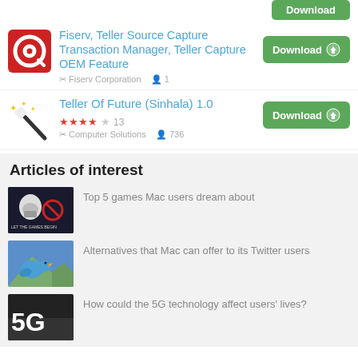[Figure (screenshot): Partial green Download button at top of page]
[Figure (logo): Fiserv app icon - red square with white target/Q symbol]
Fiserv, Teller Source Capture Transaction Manager, Teller Capture OEM Feature
Fiserv Corporation   1
[Figure (other): Green Download button]
[Figure (logo): Magic wand icon with stars]
Teller Of Future (Sinhala) 1.0
★★★★☆ 13  Computer Solutions   736
[Figure (other): Green Download button]
Articles of interest
[Figure (photo): Star Wars stormtrooper with Keep Calm game night poster]
Top 5 games Mac users dream about
[Figure (photo): Blue bird mascot (Twitter-like) on mountain landscape]
Alternatives that Mac can offer to its Twitter users
[Figure (photo): 5G technology text on dark background]
How could the 5G technology affect users' lives?